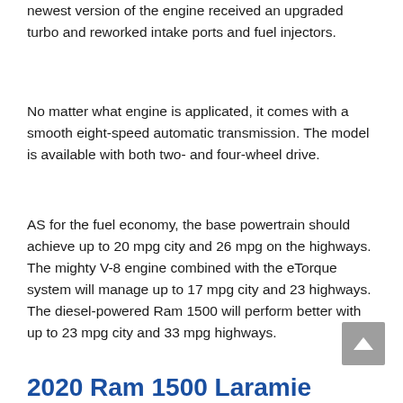newest version of the engine received an upgraded turbo and reworked intake ports and fuel injectors.
No matter what engine is applicated, it comes with a smooth eight-speed automatic transmission. The model is available with both two- and four-wheel drive.
AS for the fuel economy, the base powertrain should achieve up to 20 mpg city and 26 mpg on the highways. The mighty V-8 engine combined with the eTorque system will manage up to 17 mpg city and 23 highways. The diesel-powered Ram 1500 will perform better with up to 23 mpg city and 33 mpg highways.
2020 Ram 1500 Laramie